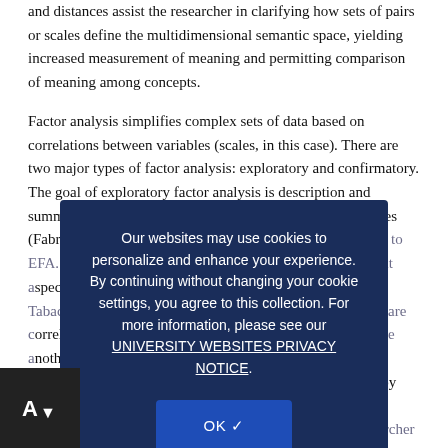and distances assist the researcher in clarifying how sets of pairs or scales define the multidimensional semantic space, yielding increased measurement of meaning and permitting comparison of meaning among concepts.
Factor analysis simplifies complex sets of data based on correlations between variables (scales, in this case). There are two major types of factor analysis: exploratory and confirmatory. The goal of exploratory factor analysis is description and summary of data through the grouping of correlated variables (Fabrigar & Priach, 2001). The discussions herein pertain primarily to EFA. The factors generated by EFA describe the most salient aspects of the relationships among variables. In particular, Tabachnilk and Fidell (2001) define factors as variables that are correlated with one another but relatively independent of one another subsets of variables. Ayala (2001) further describes factors more narrowly as constructs, operationally defined by their factor loadings, which are, in turn, correlations of each variable with each dimension. Using this definition, a researcher could utilize individual scale scores on the dimensions to make a choice or address a question, or summarize a definition (depending on the research agenda and inform statistical path...
Our websites may use cookies to personalize and enhance your experience. By continuing without changing your cookie settings, you agree to this collection. For more information, please see our UNIVERSITY WEBSITES PRIVACY NOTICE.
OK ✓